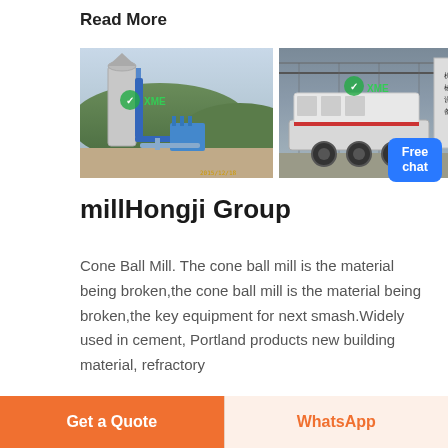Read More
[Figure (photo): Two industrial machine photos side by side: left shows an outdoor cement/powder processing facility with a tall silo and blue conveyor structure against a mountain backdrop with watermark 'XME'; right shows a mobile crusher/processing machine on a trailer inside a large warehouse, with watermark 'XME']
millHongji Group
Cone Ball Mill. The cone ball mill is the material being broken,the cone ball mill is the material being broken,the key equipment for next smash.Widely used in cement, Portland products new building material, refractory
Get a Quote | WhatsApp